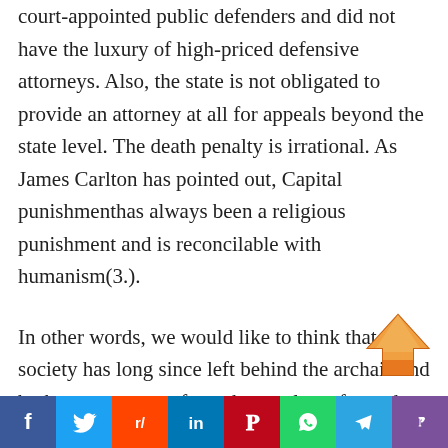court-appointed public defenders and did not have the luxury of high-priced defensive attorneys. Also, the state is not obligated to provide an attorney at all for appeals beyond the state level. The death penalty is irrational. As James Carlton has pointed out, Capital punishmenthas always been a religious punishment and is reconcilable with humanism(3.).
In other words, we would like to think that society has long since left behind the archaic and barbarous customs from the cruel eye for and eye anti-humane practices of yore. However, this doesnt seem to be the